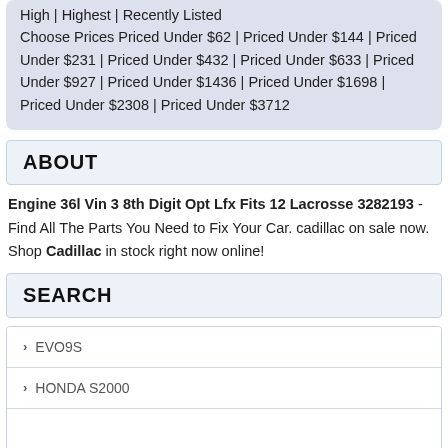High | Highest | Recently Listed
Choose Prices Priced Under $62 | Priced Under $144 | Priced Under $231 | Priced Under $432 | Priced Under $633 | Priced Under $927 | Priced Under $1436 | Priced Under $1698 | Priced Under $2308 | Priced Under $3712
ABOUT
Engine 36l Vin 3 8th Digit Opt Lfx Fits 12 Lacrosse 3282193 - Find All The Parts You Need to Fix Your Car. cadillac on sale now. Shop Cadillac in stock right now online!
SEARCH
EVO9S
HONDA S2000